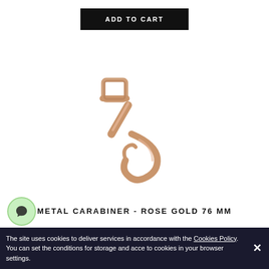ADD TO CART
[Figure (photo): A rose gold metal carabiner / bolt snap clip hardware piece photographed on white background]
METAL CARABINER - ROSE GOLD 76 MM
The site uses cookies to deliver services in accordance with the Cookies Policy. You can set the conditions for storage and access to cookies in your browser settings.